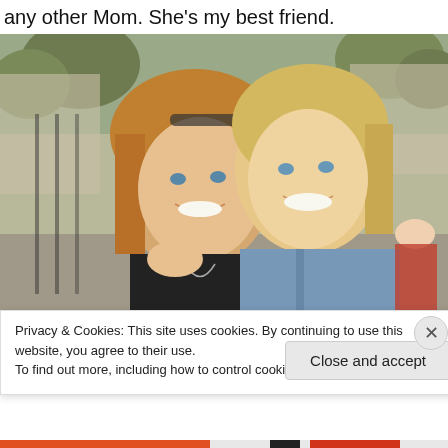any other Mom. She's my best friend.
[Figure (photo): Two smiling women posing together outdoors on a sunny day. The woman on the left has medium-length blonde/auburn hair and wears a black top with a necklace. The woman on the right has long blonde hair and wears a light denim jacket. They are cheek-to-cheek with the younger woman's arm around the older. Background shows an urban park or street scene with trees, brick buildings, and other people.]
Privacy & Cookies: This site uses cookies. By continuing to use this website, you agree to their use.
To find out more, including how to control cookies, see here: Cookie Policy
Close and accept